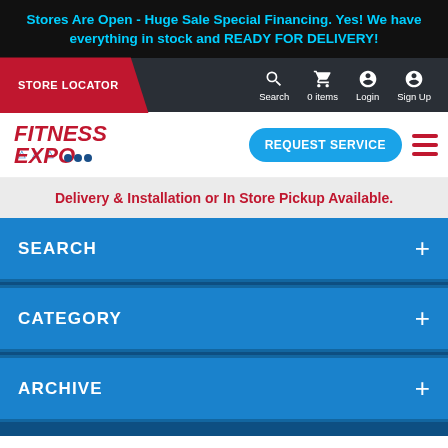Stores Are Open - Huge Sale Special Financing. Yes! We have everything in stock and READY FOR DELIVERY!
STORE LOCATOR
Search  0 items  Login  Sign Up
[Figure (logo): FITNESS EXPO logo in red italic bold text with small figure icons]
REQUEST SERVICE
Delivery & Installation or In Store Pickup Available.
SEARCH
CATEGORY
ARCHIVE
HOW TO STAY FIT IN YOUR 40S
This entry was posted on December 14, 2019 by admin.